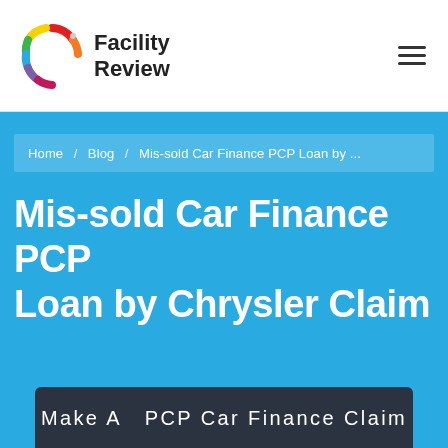[Figure (logo): Facility Review logo with colorful speedometer arc icon and bold text 'Facility Review']
Home / Blog / Mis-sold Car Finance PCP Loan by ...
Mis-sold Car Finance PCP Loan by Chrysler Claim
Make A  PCP Car Finance Claim